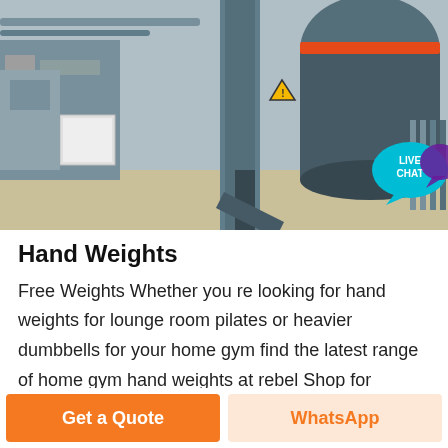[Figure (photo): Industrial machinery with large metal cylinders, pipes, and equipment in an outdoor facility. A 'Live Chat' speech bubble icon is overlaid in the top-right corner.]
Hand Weights
Free Weights Whether you re looking for hand weights for lounge room pilates or heavier dumbbells for your home gym find the latest range of home gym hand weights at rebel Shop for kettlebells rubber dumbbells and much more Pair